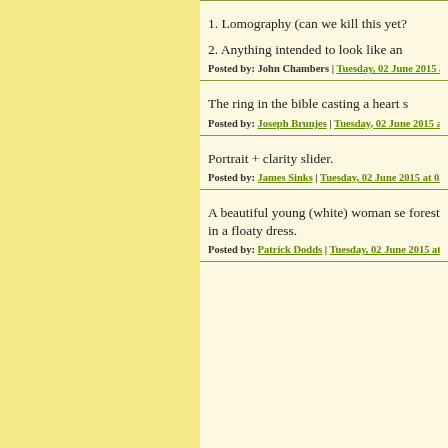1. Lomography (can we kill this yet?
2. Anything intended to look like an
Posted by: John Chambers | Tuesday, 02 June 2015 at
The ring in the bible casting a heart s
Posted by: Joseph Brunjes | Tuesday, 02 June 2015 at
Portrait + clarity slider.
Posted by: James Sinks | Tuesday, 02 June 2015 at 03:
A beautiful young (white) woman se forest in a floaty dress.
Posted by: Patrick Dodds | Tuesday, 02 June 2015 at 0